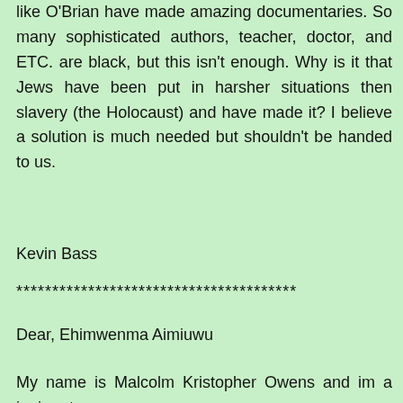like O'Brian have made amazing documentaries. So many sophisticated authors, teacher, doctor, and ETC. are black, but this isn't enough. Why is it that Jews have been put in harsher situations then slavery (the Holocaust) and have made it? I believe a solution is much needed but shouldn't be handed to us.
Kevin Bass
***************************************
Dear, Ehimwenma Aimiuwu
My name is Malcolm Kristopher Owens and im a junior at